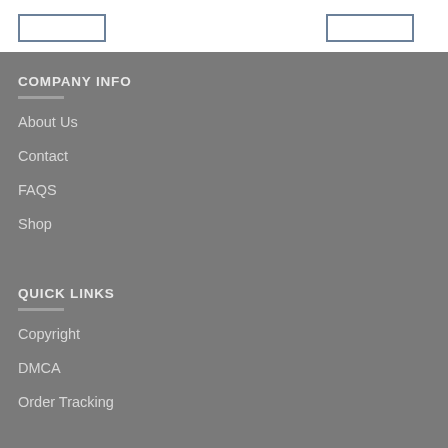COMPANY INFO
About Us
Contact
FAQS
Shop
QUICK LINKS
Copyright
DMCA
Order Tracking